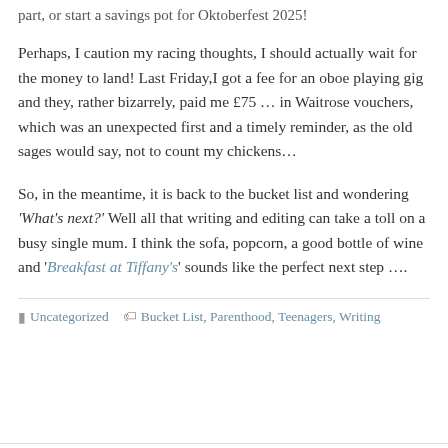part, or start a savings pot for Oktoberfest 2025!
Perhaps, I caution my racing thoughts, I should actually wait for the money to land! Last Friday,I got a fee for an oboe playing gig and they, rather bizarrely, paid me £75 … in Waitrose vouchers, which was an unexpected first and a timely reminder, as the old sages would say, not to count my chickens…
So, in the meantime, it is back to the bucket list and wondering 'What's next?' Well all that writing and editing can take a toll on a busy single mum. I think the sofa, popcorn, a good bottle of wine and 'Breakfast at Tiffany's sounds like the perfect next step ….
Uncategorized   Bucket List, Parenthood, Teenagers, Writing